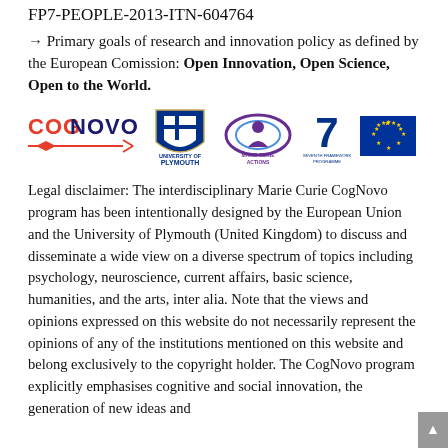FP7-PEOPLE-2013-ITN-604764
→ Primary goals of research and innovation policy as defined by the European Comission: Open Innovation, Open Science, Open to the World.
[Figure (logo): Row of institutional logos: CogNovo (red/dark blue), University of Plymouth (shield crest), Marie Curie Actions (purple), Seventh Framework Programme (blue 7), European Union flag (blue with yellow stars)]
Legal disclaimer: The interdisciplinary Marie Curie CogNovo program has been intentionally designed by the European Union and the University of Plymouth (United Kingdom) to discuss and disseminate a wide view on a diverse spectrum of topics including psychology, neuroscience, current affairs, basic science, humanities, and the arts, inter alia. Note that the views and opinions expressed on this website do not necessarily represent the opinions of any of the institutions mentioned on this website and belong exclusively to the copyright holder. The CogNovo program explicitly emphasises cognitive and social innovation, the generation of new ideas and